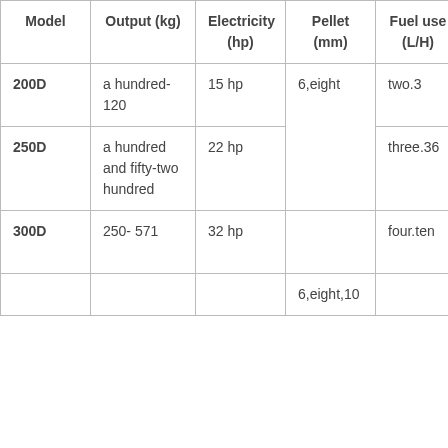| Model | Output (kg) | Electricity (hp) | Pellet (mm) | Fuel use (L/H) | P d (m… |
| --- | --- | --- | --- | --- | --- |
| 200D | a hundred-120 | 15 hp |  | two.3 | 1… |
| 250D | a hundred and fifty-two hundred | 22 hp | 6,eight | three.36 | 1… |
| 300D | 250- 571 | 32 hp |  | four.ten | 1… * |
|  |  |  | 6,eight,10 |  | 8… |